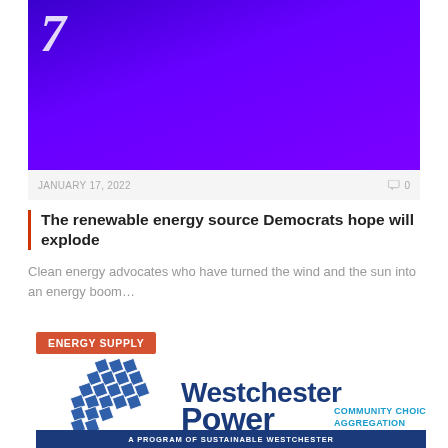[Figure (illustration): Purple/violet gradient banner with a large white italic quotation mark or stylized number 7 in the upper left corner]
JANUARY 17, 2022
0
The renewable energy source Democrats hope will explode
Clean energy advocates who have turned the wind and the sun into an energy boom…
ENERGY SUPPLY
[Figure (logo): Westchester Power Community Choice Aggregation logo with solar panel graphic and text 'A PROGRAM OF SUSTAINABLE WESTCHESTER']